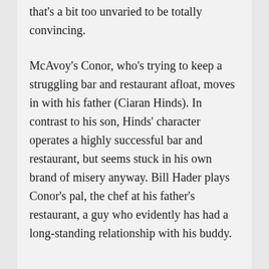that's a bit too unvaried to be totally convincing.
McAvoy's Conor, who's trying to keep a struggling bar and restaurant afloat, moves in with his father (Ciaran Hinds). In contrast to his son, Hinds' character operates a highly successful bar and restaurant, but seems stuck in his own brand of misery anyway. Bill Hader plays Conor's pal, the chef at his father's restaurant, a guy who evidently has had a long-standing relationship with his buddy.